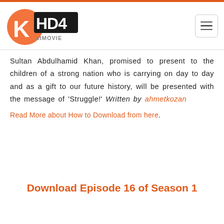KatMovie HD logo and navigation
Sultan Abdulhamid Khan, promised to present to the children of a strong nation who is carrying on day to day and as a gift to our future history, will be presented with the message of ‘Struggle!’ Written by ahmetkozan
Read More about How to Download from here.
Download Episode 16 of Season 1